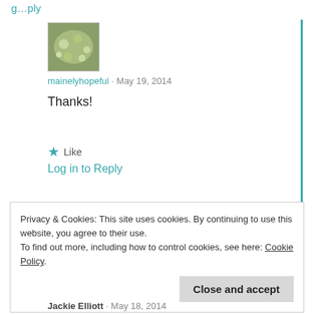mainelyhopeful · May 19, 2014
Thanks!
★ Like
Log in to Reply
Privacy & Cookies: This site uses cookies. By continuing to use this website, you agree to their use.
To find out more, including how to control cookies, see here: Cookie Policy
Close and accept
Jackie Elliott · May 18, 2014